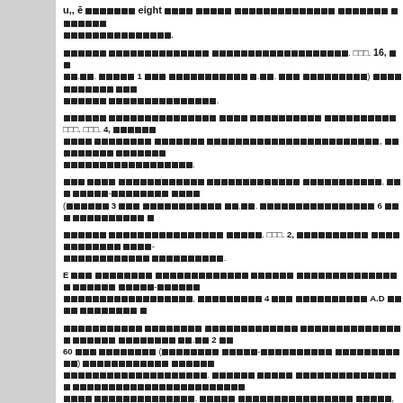... u,, ē □□□□□□□ eight □□□□ □□□□□ □□□□□□□□□□□□□□ □□□□□□□ □□□□□□□ □□□□□□□□□□□□□□□.
□□□□□□ □□□□□□□□□□□□□□ □□□□□□□□□□□□□□□□□□□□. □□□. 16, □□ □□.□□. □□□□□ 1 □□□ □□□□□□□□□□□ □.□□. □□□ □□□□□□□□□) □□□□ □□□□□□□ □□□ □□□□□□ □□□□□□□□□□□□□□□□.
□□□□□□ □□□□□□□□□□□□□□□ □□□□ □□□□□□□□□□ □□□□□□□□□□ □□□. □□□. 4, □□□□□□ □□□□ □□□□□□□□ □□□□□□□ □□□□□□□□□□□□□□□□□□□□□□□□□, □□□□□□□□□ □□□□□□□ □□□□□□□□□□□□□□□□□□.
□□□ □□□□ □□□□□□□□□□□□ □□□□□□□□□□□□□ □□□□□□□□□□□, □□□ □□□□□-□□□□□□□□ □□□□ (□□□□□□ 3 □□□ □□□□□□□□□□□ □□.□□. □□□□□□□□□□□□□□□□ 6 □□□ □□□□□□□□□□ □
□□□□□□ □□□□□□□□□□□□□□□□ □□□□□. □□□. 2, □□□□□□□□□□ □□□□ □□□□□□□□ □□□□□- □□□□□□□□□□□□ □□□□□□□□□□.
E □□□ □□□□□□□□ □□□□□□□□□□□□□ □□□□□□ □□□□□□□□□□□□□□□ □□□□□□ □□□□□-□□□□□□ □□□□□□□□□□□□□□□□□□, □□□□□□□□□ 4 □□□ □□□□□□□□□□ A.D □□□□ □□□□□□□□ □
□□□□□□□□□□□ □□□□□□□□ □□□□□□□□□□□□□ □□□□□□□□□□□□□□□ □□□□□□ □□□□□□□□ □□.□□ 2 □□ 60 □□□ □□□□□□□□ (□□□□□□□□ □□□□□-□□□□□□□□□□ □□□□□□□□□□□) □□□□□□□□□□□□ □□□□□□ □□□□□□□□□□□□□□□□□□□□□. □□□□□□ □□□□□ □□□□□□□□□□□□□□□ □□□□□□□□□□□□□□□□□□□□□□□□ □□□□ □□□□□□□□□□□□□□. □□□□□ □□□□□□□□□□□□□□□□ □□□□□, □□□□□□□□□ □□□. 100 □□□□□□□□□□□□ □□□□□ □□□□□□□□□□□□□□□□□□□□□ □□□□□□ □□□□□□ □□□□□□ □□□□□□□□□
□□□□ □□□ □□□ □□□□□□□□□□□□□□□□□□, □□□□ □□□□□□□□□□□ □□□□ □□□□□□□□□□□□□□□□